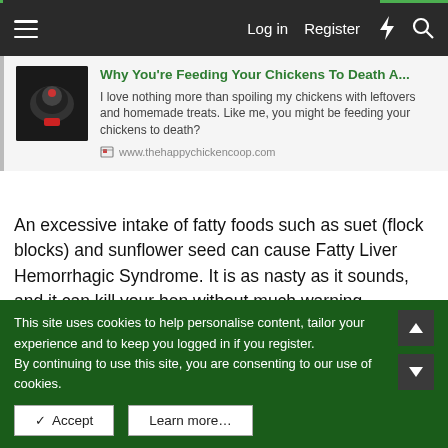Log in  Register
[Figure (screenshot): Article preview card with chicken thumbnail image, green title 'Why You're Feeding Your Chickens To Death A...', description text, and URL www.thehappychickencoop.com]
An excessive intake of fatty foods such as suet (flock blocks) and sunflower seed can cause Fatty Liver Hemorrhagic Syndrome. It is as nasty as it sounds, and it can kill your hen without much warning...
Typically hens who suffer from this disease are usually 20% or more overweight and are laying hens...
This site uses cookies to help personalise content, tailor your experience and to keep you logged in if you register.
By continuing to use this site, you are consenting to our use of cookies.